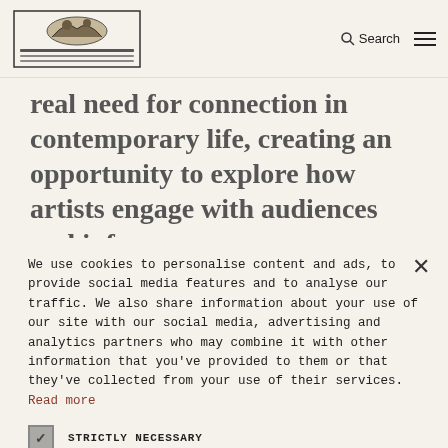Logo + Search + Menu navigation
real need for connection in contemporary life, creating an opportunity to explore how artists engage with audiences and inform our
We use cookies to personalise content and ads, to provide social media features and to analyse our traffic. We also share information about your use of our site with our social media, advertising and analytics partners who may combine it with other information that you've provided to them or that they've collected from your use of their services. Read more
STRICTLY NECESSARY
TARGETING
UNCLASSIFIED
ACCEPT ALL
DECLINE ALL
SHOW DETAILS